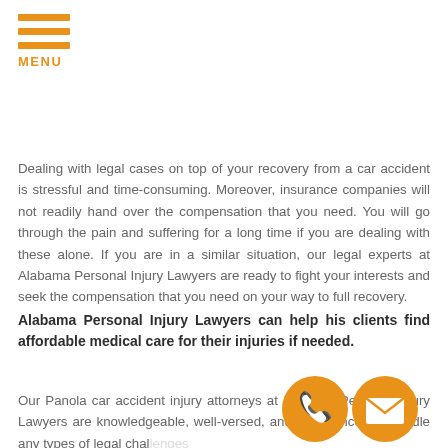MENU
Dealing with legal cases on top of your recovery from a car accident is stressful and time-consuming. Moreover, insurance companies will not readily hand over the compensation that you need. You will go through the pain and suffering for a long time if you are dealing with these alone. If you are in a similar situation, our legal experts at Alabama Personal Injury Lawyers are ready to fight your interests and seek the compensation that you need on your way to full recovery.
Alabama Personal Injury Lawyers can help his clients find affordable medical care for their injuries if needed.
Our Panola car accident injury attorneys at Alabama Personal Injury Lawyers are knowledgeable, well-versed, and experienced to handle any types of legal challenges